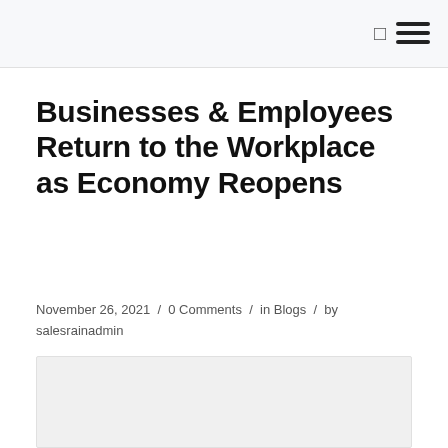Businesses & Employees Return to the Workplace as Economy Reopens
November 26, 2021 / 0 Comments / in Blogs / by salesrainadmin
[Figure (photo): Blog post featured image placeholder]